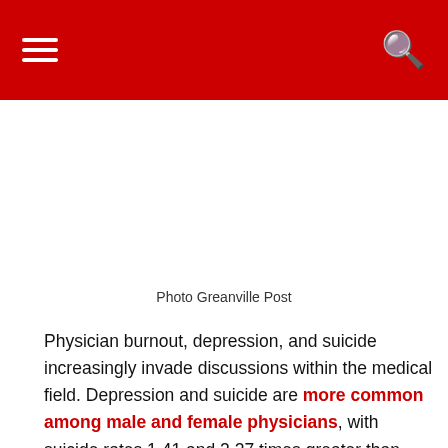Photo Greanville Post
Physician burnout, depression, and suicide increasingly invade discussions within the medical field. Depression and suicide are more common among male and female physicians, with suicide rates 1.41 and 2.27 times greater than that of the general male and female populations, respectively. Though, the insults to the mental health of